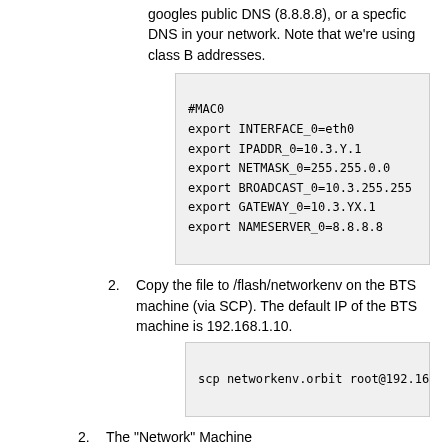googles public DNS (8.8.8.8), or a specfic DNS in your network. Note that we're using class B addresses.
[Figure (screenshot): Code block showing network configuration: #MAC0, export INTERFACE_0=eth0, export IPADDR_0=10.3.Y.1, export NETMASK_0=255.255.0.0, export BROADCAST_0=10.3.255.255, export GATEWAY_0=10.3.YX.1, export NAMESERVER_0=8.8.8.8]
2. Copy the file to /flash/networkenv on the BTS machine (via SCP). The default IP of the BTS machine is 192.168.1.10.
[Figure (screenshot): Code block showing: scp networkenv.orbit root@192.168...]
2. The "Network" Machine
1. Telnet to the N/W card at 192.168.1.42/24. User root as the username, you will not be asked for a password.
2. Edit the /etc/network/interfaces eth1 entry to organisations Address Structure. It should be of the form 10.3.Y.2, for the first BTS. The entry should look similar to:
[Figure (screenshot): Code block showing: auto eth1, iface eth1 inet static]